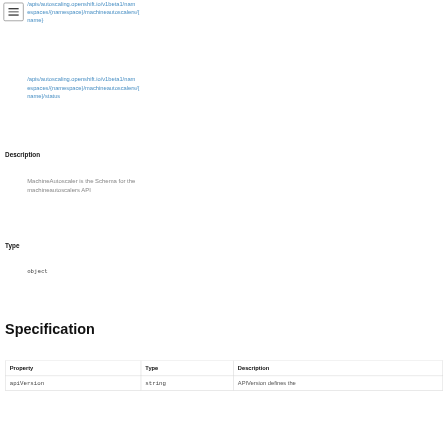/apis/autoscaling.openshift.io/v1beta1/namespaces/{namespace}/machineautoscalers/{name}
/apis/autoscaling.openshift.io/v1beta1/namespaces/{namespace}/machineautoscalers/{name}/status
Description
MachineAutoscaler is the Schema for the machineautoscalers API
Type
object
Specification
| Property | Type | Description |
| --- | --- | --- |
| apiVersion | string | APIVersion defines the |